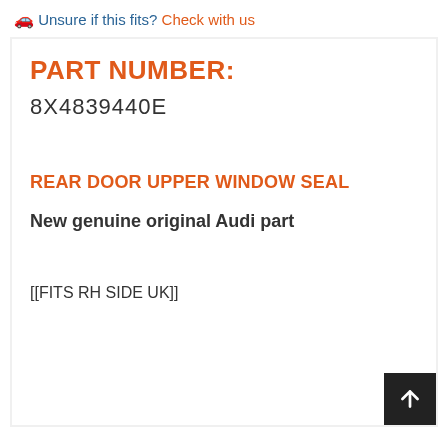🚗 Unsure if this fits? Check with us
PART NUMBER:
8X4839440E
REAR DOOR UPPER WINDOW SEAL
New genuine original Audi part
[[FITS RH SIDE UK]]